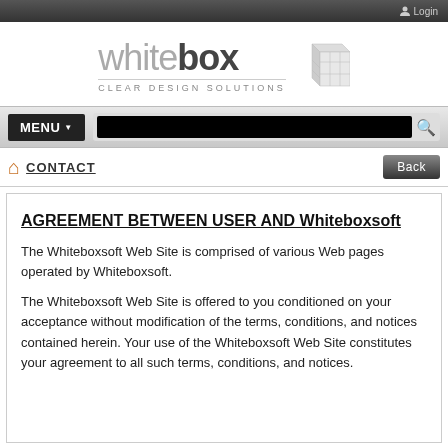Login
[Figure (logo): Whitebox 3D logo with cube graphic and tagline CLEAR DESIGN SOLUTIONS]
[Figure (screenshot): Navigation bar with MENU button and search field]
CONTACT   Back
AGREEMENT BETWEEN USER AND Whiteboxsoft
The Whiteboxsoft Web Site is comprised of various Web pages operated by Whiteboxsoft.
The Whiteboxsoft Web Site is offered to you conditioned on your acceptance without modification of the terms, conditions, and notices contained herein. Your use of the Whiteboxsoft Web Site constitutes your agreement to all such terms, conditions, and notices.